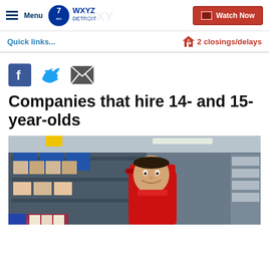Menu | WXYZ Detroit | Watch Now
Quick links...
2 closings/delays
[Figure (other): Social share icons: Facebook, Twitter, Email]
Companies that hire 14- and 15-year-olds
[Figure (photo): Young woman in red uniform and red cap smiling in a store with shelves of products behind her]